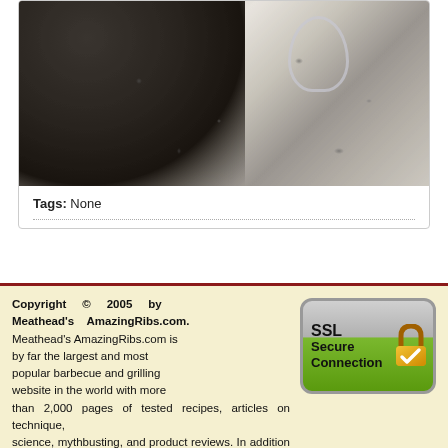[Figure (photo): Photo of dark round object and wine glass on granite countertop]
Tags: None
Top
Copyright © 2005 by Meathead's AmazingRibs.com. Meathead's AmazingRibs.com is by far the largest and most popular barbecue and grilling website in the world with more than 2,000 pages of tested recipes, articles on technique, science, mythbusting, and product reviews. In addition our
[Figure (logo): SSL Secure Connection badge with padlock icon]